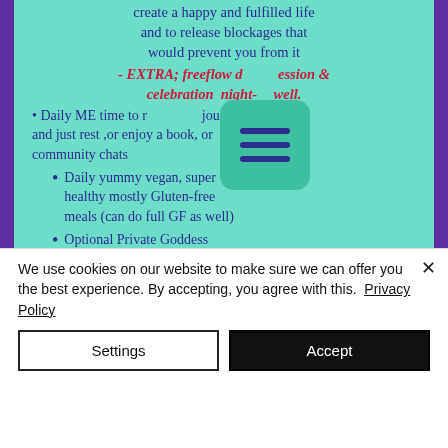create a happy and fulfilled life and to release blockages that would prevent you from it
- EXTRA; freeflow d[iscussion &] celebration night-[as ]well.
• Daily ME time to r[elax,] journal, and just rest ,or enjoy a book, or community chats
• Daily yummy vegan, super healthy mostly Gluten-free meals (can do full GF as well)
• Optional Private Goddess Channel – to get a reading on your Life from the Goddess of [Love during the retreat...]
[Figure (other): Green/teal rounded square menu button with three horizontal dark blue lines (hamburger menu icon)]
We use cookies on our website to make sure we can offer you the best experience. By accepting, you agree with this. Privacy Policy
Settings
Accept